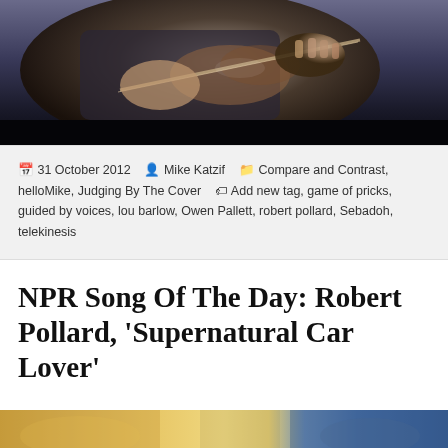[Figure (photo): Close-up photo of a person playing violin, dark background, hands and bow visible]
31 October 2012  Mike Katzif  Compare and Contrast, helloMike, Judging By The Cover  Add new tag, game of pricks, guided by voices, lou barlow, Owen Pallett, robert pollard, Sebadoh, telekinesis
NPR Song Of The Day: Robert Pollard, 'Supernatural Car Lover'
[Figure (photo): Partial image at bottom of page, appears to be album art or related imagery with warm and cool tones]